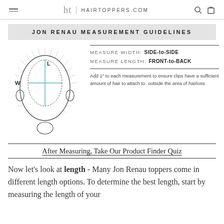ht | HAIRTOPPERS.COM
JON RENAU MEASUREMENT GUIDELINES
[Figure (illustration): Head diagram from above showing oval scalp area with crosshairs indicating Width (W) and Length (L) measurement directions, with radiating hair lines around the scalp]
MEASURE WIDTH: SIDE-to-SIDE
MEASURE LENGTH: FRONT-to-BACK
Add 1" to each measurement to ensure clips have a sufficient amount of hair to attach to  outside the area of hairloss
After Measuring, Take Our Product Finder Quiz
Now let's look at length - Many Jon Renau toppers come in different length options. To determine the best length, start by measuring the length of your